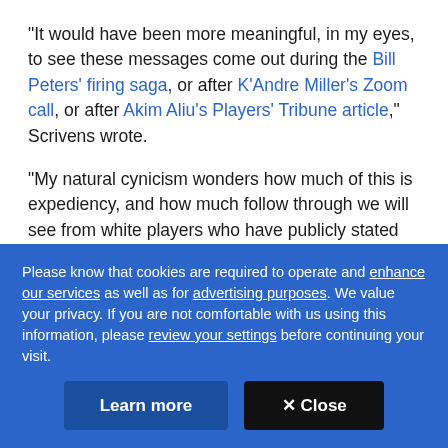"It would have been more meaningful, in my eyes, to see these messages come out during the Bill Peters' firing saga, or after K'Andre Miller's Zoom call, or after Akim Aliu's Players' Tribune article," Scrivens wrote.
"My natural cynicism wonders how much of this is expediency, and how much follow through we will see from white players who have publicly stated their intentions."
Please know that cookies are required to operate and enhance our services as well as for advertising purposes. We value your privacy. If you are not comfortable with us using this information, please review your settings before continuing your visit.